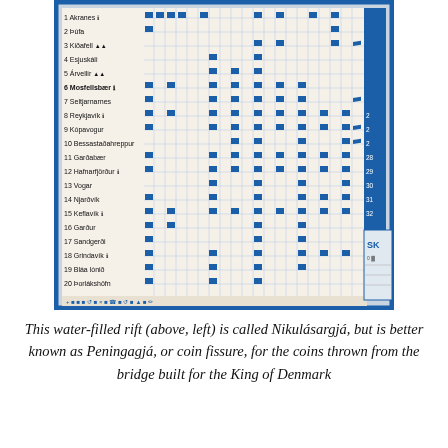[Figure (photo): Photo of a blue municipal services or map board showing numbered Icelandic place names (1 Akranes through 20 Þorlákshöfn) with a grid of blue dots indicating service availability or connections. Numbers 1-20 are listed on the left side of the board with town names, and there are numbered columns across the top. The board has a blue border and icons at the bottom.]
This water-filled rift (above, left) is called Nikulásargjá, but is better known as Peningagjá, or coin fissure, for the coins thrown from the bridge built for the King of Denmark